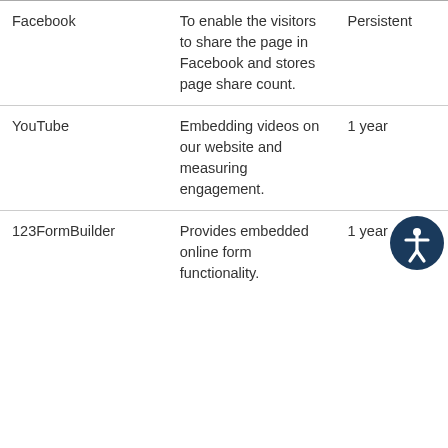| Facebook | To enable the visitors to share the page in Facebook and stores page share count. | Persistent |
| YouTube | Embedding videos on our website and measuring engagement. | 1 year |
| 123FormBuilder | Provides embedded online form functionality. | 1 year |